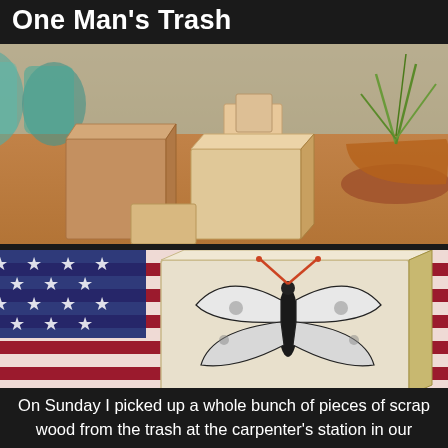One Man's Trash
[Figure (photo): Photo of several plain unfinished wooden blocks of various sizes stacked and arranged on a wooden surface, with a potted plant and glass jars in the background]
[Figure (photo): Photo of a wooden block with a moth/butterfly stamp design printed on it, placed in front of an American flag background]
On Sunday I picked up a whole bunch of pieces of scrap wood from the trash at the carpenter's station in our